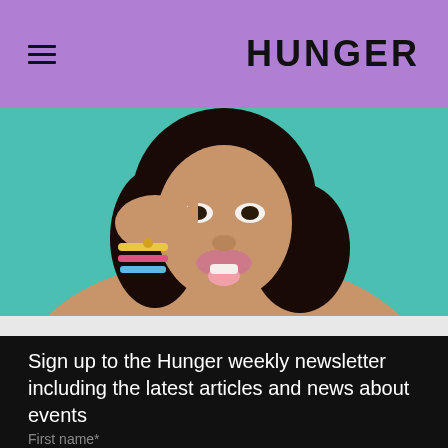HUNGER
[Figure (photo): Close-up fashion photo of a Black woman with wavy hair, sticking out her tongue, hand raised near her face wearing bracelets, teal/turquoise background]
Sign up to the Hunger weekly newsletter including the latest articles and news about events
First name*